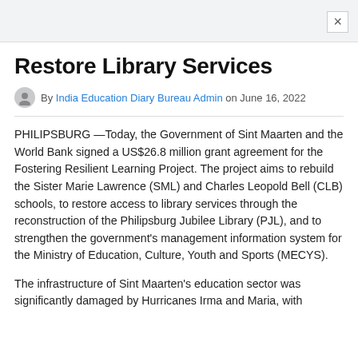Restore Library Services
By India Education Diary Bureau Admin on June 16, 2022
PHILIPSBURG —Today, the Government of Sint Maarten and the World Bank signed a US$26.8 million grant agreement for the Fostering Resilient Learning Project. The project aims to rebuild the Sister Marie Lawrence (SML) and Charles Leopold Bell (CLB) schools, to restore access to library services through the reconstruction of the Philipsburg Jubilee Library (PJL), and to strengthen the government's management information system for the Ministry of Education, Culture, Youth and Sports (MECYS).
The infrastructure of Sint Maarten's education sector was significantly damaged by Hurricanes Irma and Maria, with